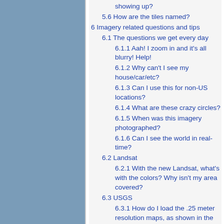showing up?
5.6 How are the tiles named?
6 Imagery related questions and tips
6.1 The questions we get every day
6.1.1 Aah! I zoom in and it's all blurry! Help!
6.1.2 Why can't I see my house/car/etc?
6.1.3 Can I use this for non-US locations?
6.1.4 What are these crazy circles?
6.1.5 When was this imagery photographed?
6.1.6 Can I see the world in real-time?
6.2 Landsat
6.2.1 With the new Landsat, what's with the colors? Why isn't my area covered?
6.3 USGS
6.3.1 How do I load the .25 meter resolution maps, as shown in the screenshot of D.C. on this web site?
6.3.2 All I see is white tiles when